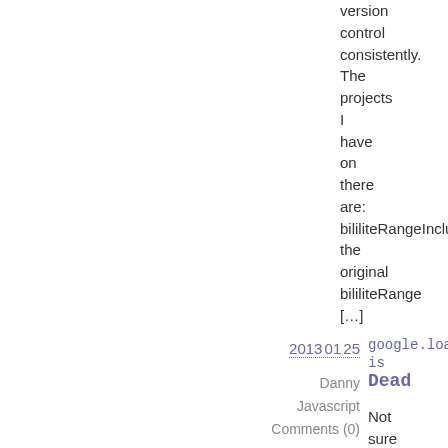version control consistently. The projects I have on there are: bililiteRangeIncludes the original bililiteRange [...]
2013 01 25
Danny
Javascript
Comments (0)
google.load('jque is Dead
Not sure when